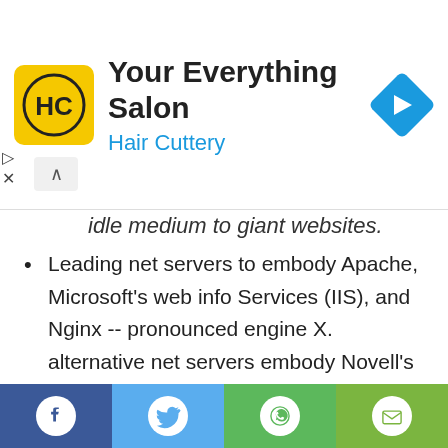[Figure (screenshot): Advertisement banner for Hair Cuttery salon with logo, title 'Your Everything Salon', subtitle 'Hair Cuttery', and navigation arrow icon]
idle medium to giant websites.
Leading net servers to embody Apache, Microsoft's web info Services (IIS), and Nginx -- pronounced engine X. alternative net servers embody Novell's NetWare server, Google net Server (GWS), and IBM's family of Domino servers.
Considerations in selecting an internet server embody however well it works with the software and alternative servers; its ability to handle server-side programming; security characteristics; and also the commercial
[Figure (screenshot): Social media sharing bar with Facebook, Twitter, WhatsApp, and Email buttons]